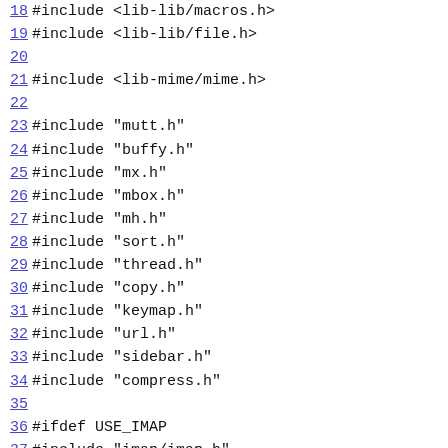18 #include <lib-lib/macros.h>
19 #include <lib-lib/file.h>
20
21 #include <lib-mime/mime.h>
22
23 #include "mutt.h"
24 #include "buffy.h"
25 #include "mx.h"
26 #include "mbox.h"
27 #include "mh.h"
28 #include "sort.h"
29 #include "thread.h"
30 #include "copy.h"
31 #include "keymap.h"
32 #include "url.h"
33 #include "sidebar.h"
34 #include "compress.h"
35
36 #ifdef USE_IMAP
37 #include "imap/imap.h"
38 #include "imap/mx_imap.h"
39 #endif
40
41 #ifdef USE_POP
42 #include "pop/pop.h"